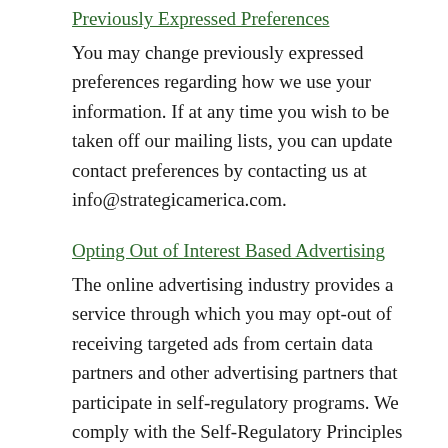Previously Expressed Preferences
You may change previously expressed preferences regarding how we use your information. If at any time you wish to be taken off our mailing lists, you can update contact preferences by contacting us at info@strategicamerica.com.
Opting Out of Interest Based Advertising
The online advertising industry provides a service through which you may opt-out of receiving targeted ads from certain data partners and other advertising partners that participate in self-regulatory programs. We comply with the Self-Regulatory Principles for Online Behavioral Advertising set forth by the Digital Advertising Alliance (DAA).You can opt-out of targeted advertising from certain providers at www.aboutads.info/consumers. You can opt-out of targeted advertising from certain providers at